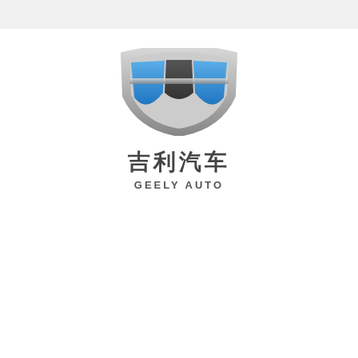[Figure (logo): Geely Auto logo: a shield-shaped emblem with silver border, divided into three sections — two blue curved panels on the sides and a dark gray center panel, arranged in a smile/grille shape. Below the emblem are Chinese characters '吉利汽车' and the English text 'GEELY AUTO'.]